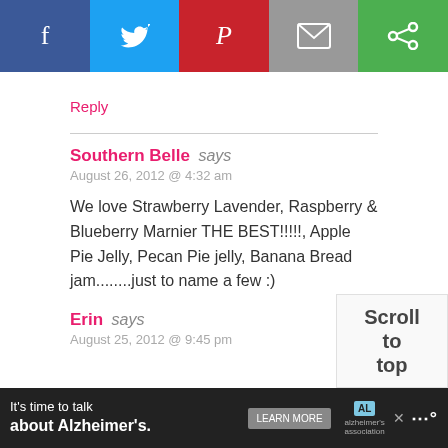[Figure (other): Social sharing bar with Facebook, Twitter, Pinterest, Email, and another sharing button icons]
Reply
Southern Belle says
August 26, 2012 @ 4:32 am
We love Strawberry Lavender, Raspberry & Blueberry Marnier THE BEST!!!!!, Apple Pie Jelly, Pecan Pie jelly, Banana Bread jam........just to name a few :)
Reply
Erin says
August 25, 2012 @ 9:45 pm
Scroll to top
[Figure (other): Advertisement banner: It's time to talk about Alzheimer's. LEARN MORE. Alzheimer's Association logo.]